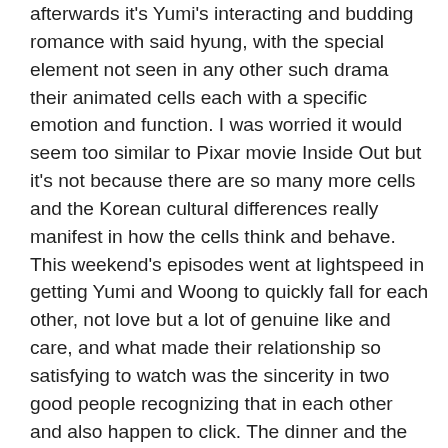afterwards it's Yumi's interacting and budding romance with said hyung, with the special element not seen in any other such drama their animated cells each with a specific emotion and function. I was worried it would seem too similar to Pixar movie Inside Out but it's not because there are so many more cells and the Korean cultural differences really manifest in how the cells think and behave. This weekend's episodes went at lightspeed in getting Yumi and Woong to quickly fall for each other, not love but a lot of genuine like and care, and what made their relationship so satisfying to watch was the sincerity in two good people recognizing that in each other and also happen to click. The dinner and the frog festival date was adorable, and of course Woong's prince charming savior with the umbrella and then princess carry to the hospital could have been cheesy but was instead so endearing. The best part of the episode was when Woong's love cell disguised himself as a frog and just went to take care and clean up Yumi's emotional detritus, and she recognized it and appreciated it even more. That she used his first two lame jokes back towards him was the beautiful icing on the cake. They have a relationship I ship wholeheartedly, even if it doesn't end up in happily ever after I think the journey for these two will be